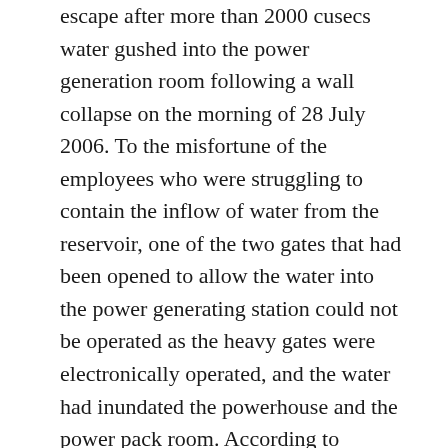escape after more than 2000 cusecs water gushed into the power generation room following a wall collapse on the morning of 28 July 2006. To the misfortune of the employees who were struggling to contain the inflow of water from the reservoir, one of the two gates that had been opened to allow the water into the power generating station could not be operated as the heavy gates were electronically operated, and the water had inundated the powerhouse and the power pack room. According to official sources, the protection wall of the plant (located next to the two huge crest gates) had developed